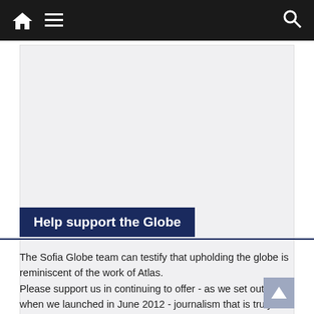Navigation bar with home icon, menu icon, and search icon
[Figure (other): Gray advertisement placeholder area]
Help support the Globe
The Sofia Globe team can testify that upholding the globe is reminiscent of the work of Atlas.
Please support us in continuing to offer - as we set out to do when we launched in June 2012 - journalism that is truly independent and informed. All donations are gratefully